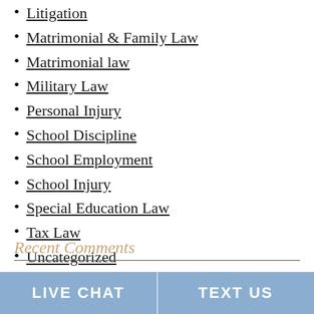Litigation
Matrimonial & Family Law
Matrimonial law
Military Law
Personal Injury
School Discipline
School Employment
School Injury
Special Education Law
Tax Law
Uncategorized
Recent Comments
Skywestonline on Parental Alienation in Custody Disputes
LIVE CHAT    TEXT US